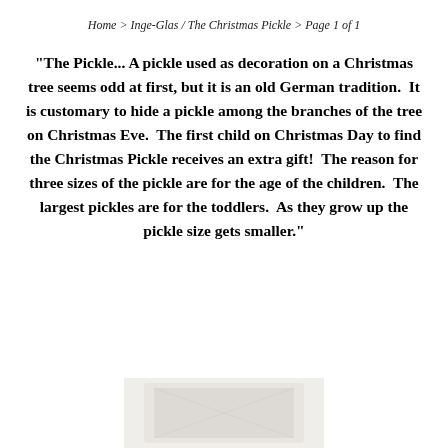Home > Inge-Glas / The Christmas Pickle > Page 1 of 1
"The Pickle... A pickle used as decoration on a Christmas tree seems odd at first, but it is an old German tradition.  It is customary to hide a pickle among the branches of the tree on Christmas Eve.  The first child on Christmas Day to find the Christmas Pickle receives an extra gift!  The reason for three sizes of the pickle are for the age of the children.  The largest pickles are for the toddlers.  As they grow up the pickle size gets smaller."
[Figure (photo): Partial image of what appears to be a card or label, visible at the bottom of the page]